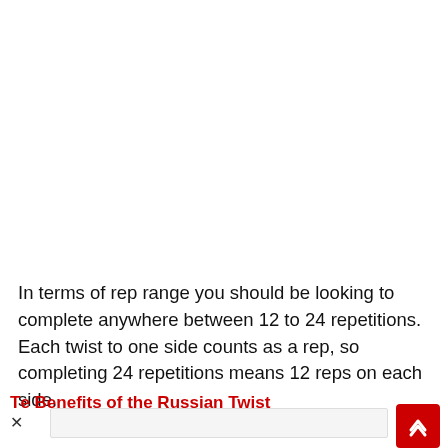In terms of rep range you should be looking to complete anywhere between 12 to 24 repetitions. Each twist to one side counts as a rep, so completing 24 repetitions means 12 reps on each side.
The Benefits of the Russian Twist